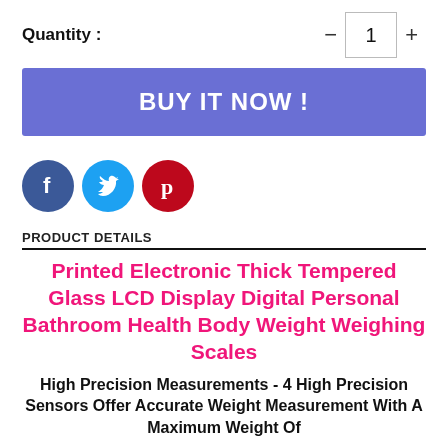Quantity : — 1 +
BUY IT NOW !
[Figure (other): Social media share icons: Facebook (blue circle), Twitter (cyan circle), Pinterest (red circle)]
PRODUCT DETAILS
Printed Electronic Thick Tempered Glass LCD Display Digital Personal Bathroom Health Body Weight Weighing Scales
High Precision Measurements - 4 High Precision Sensors Offer Accurate Weight Measurement With A Maximum Weight Of